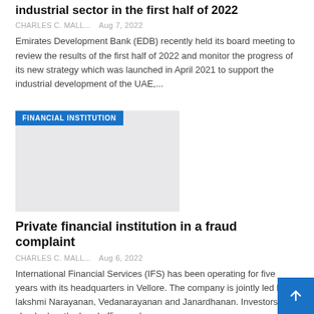industrial sector in the first half of 2022
CHARLES C. MALL...   Aug 7, 2022
Emirates Development Bank (EDB) recently held its board meeting to review the results of the first half of 2022 and monitor the progress of its new strategy which was launched in April 2021 to support the industrial development of the UAE,...
[Figure (photo): Image placeholder with FINANCIAL INSTITUTION category badge overlay]
Private financial institution in a fraud complaint
CHARLES C. MALL...   Aug 6, 2022
International Financial Services (IFS) has been operating for five years with its headquarters in Vellore. The company is jointly led by lakshmi Narayanan, Vedanarayanan and Janardhanan. Investors are shocked as the head office and...